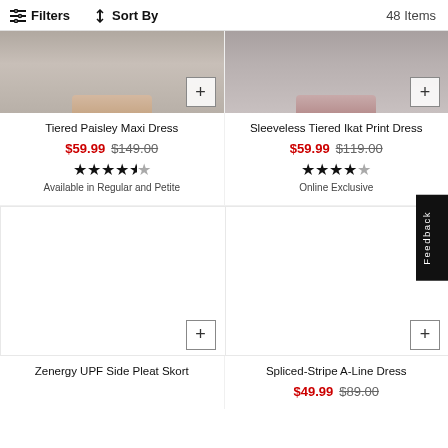Filters  Sort By  48 Items
[Figure (photo): Cropped product photo of Tiered Paisley Maxi Dress, top portion cut off]
Tiered Paisley Maxi Dress
$59.99  $149.00
★★★★½
Available in Regular and Petite
[Figure (photo): Cropped product photo of Sleeveless Tiered Ikat Print Dress, top portion cut off]
Sleeveless Tiered Ikat Print Dress
$59.99  $119.00
★★★★½
Online Exclusive
[Figure (photo): Product image area for Zenergy UPF Side Pleat Skort (mostly white/not loaded)]
Zenergy UPF Side Pleat Skort
[Figure (photo): Product image area for Spliced-Stripe A-Line Dress (mostly white/not loaded)]
Spliced-Stripe A-Line Dress
$49.99  $89.00